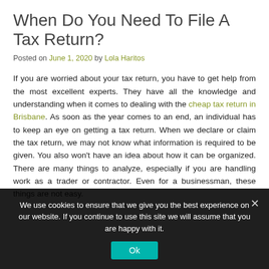When Do You Need To File A Tax Return?
Posted on June 1, 2020 by Lola Haritos
If you are worried about your tax return, you have to get help from the most excellent experts. They have all the knowledge and understanding when it comes to dealing with the cheap tax return in Brisbane. As soon as the year comes to an end, an individual has to keep an eye on getting a tax return. When we declare or claim the tax return, we may not know what information is required to be given. You also won't have an idea about how it can be organized. There are many things to analyze, especially if you are handling work as a trader or contractor. Even for a businessman, these things are not easy.
We use cookies to ensure that we give you the best experience on our website. If you continue to use this site we will assume that you are happy with it.